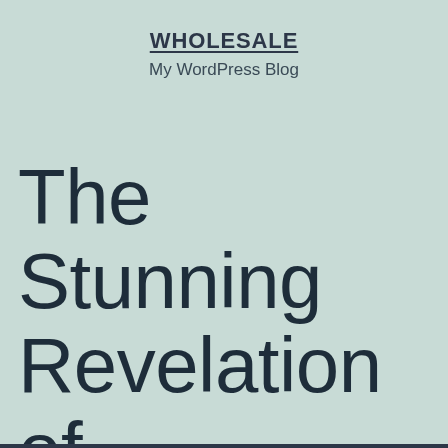WHOLESALE
My WordPress Blog
The Stunning Revelation of Biography.